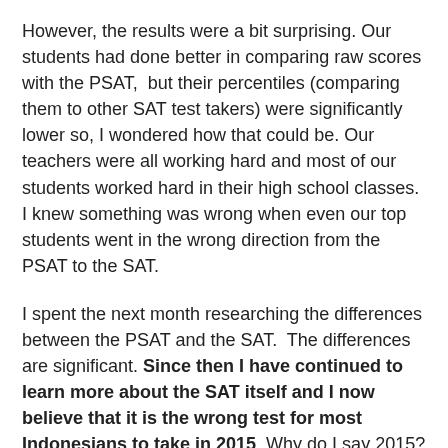However, the results were a bit surprising. Our students had done better in comparing raw scores with the PSAT,  but their percentiles (comparing them to other SAT test takers) were significantly lower so, I wondered how that could be. Our teachers were all working hard and most of our students worked hard in their high school classes. I knew something was wrong when even our top students went in the wrong direction from the PSAT to the SAT.
I spent the next month researching the differences between the PSAT and the SAT.  The differences are significant. Since then I have continued to learn more about the SAT itself and I now believe that it is the wrong test for most Indonesians to take in 2015. Why do I say 2015? The creators of the exams have recognized the need to update the SAT, in part because they have been losing out to the competition (the ACT). So, in 2016 they will introduce the New SAT which will be much more like